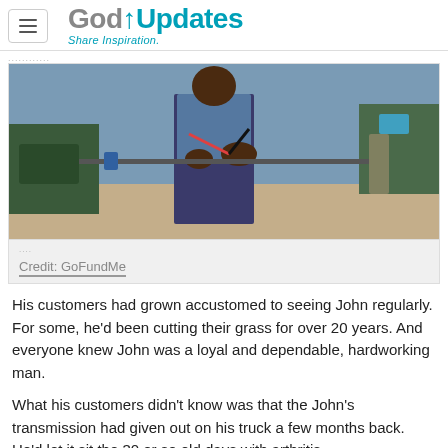GodUpdates – Share Inspiration.
[Figure (photo): A man working outdoors, handling cables or wires attached to a metal rod or piece of equipment. He appears to be an older Black man wearing a blue short-sleeve shirt and dark pants. The background shows an outdoor patio or park setting.]
Credit: GoFundMe
His customers had grown accustomed to seeing John regularly. For some, he'd been cutting their grass for over 20 years. And everyone knew John was a loyal and dependable, hardworking man.
What his customers didn't know was that the John's transmission had given out on his truck a few months back. He'd let it sit the 30 or so old days with arthritis